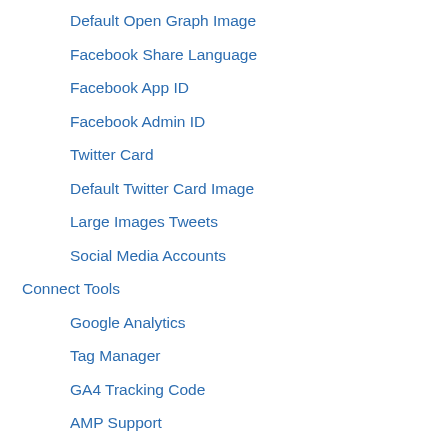Default Open Graph Image
Facebook Share Language
Facebook App ID
Facebook Admin ID
Twitter Card
Default Twitter Card Image
Large Images Tweets
Social Media Accounts
Connect Tools
Google Analytics
Tag Manager
GA4 Tracking Code
AMP Support
Facebook Pixel